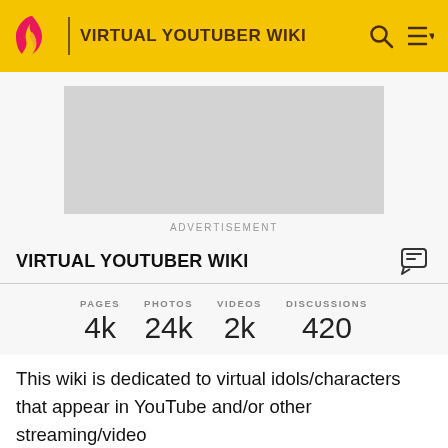VIRTUAL YOUTUBER WIKI
[Figure (other): Advertisement placeholder — gray rectangle]
ADVERTISEMENT
VIRTUAL YOUTUBER WIKI
| PAGES | PHOTOS | VIDEOS | DISCUSSIONS |
| --- | --- | --- | --- |
| 4k | 24k | 2k | 420 |
This wiki is dedicated to virtual idols/characters that appear in YouTube and/or other streaming/video